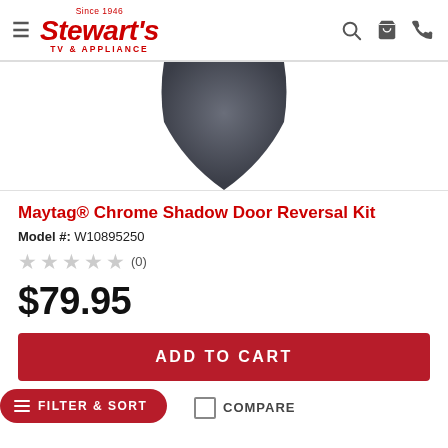Since 1946 Stewart's TV & APPLIANCE
[Figure (photo): Product image: dark gray handle/drawer shape on white background]
Maytag® Chrome Shadow Door Reversal Kit
Model #: W10895250
★★★★★ (0)
$79.95
ADD TO CART
FILTER & SORT
COMPARE